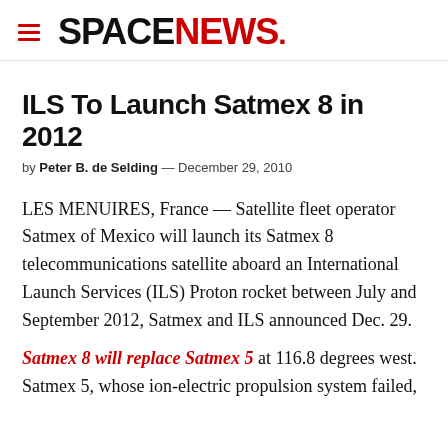SPACENEWS
ILS To Launch Satmex 8 in 2012
by Peter B. de Selding — December 29, 2010
LES MENUIRES, France — Satellite fleet operator Satmex of Mexico will launch its Satmex 8 telecommunications satellite aboard an International Launch Services (ILS) Proton rocket between July and September 2012, Satmex and ILS announced Dec. 29.
Satmex 8 will replace Satmex 5 at 116.8 degrees west. Satmex 5, whose ion-electric propulsion system failed,